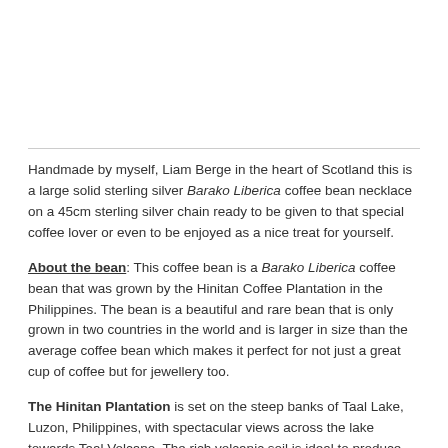Handmade by myself, Liam Berge in the heart of Scotland this is a large solid sterling silver Barako Liberica coffee bean necklace on a 45cm sterling silver chain ready to be given to that special coffee lover or even to be enjoyed as a nice treat for yourself.
About the bean: This coffee bean is a Barako Liberica coffee bean that was grown by the Hinitan Coffee Plantation in the Philippines. The bean is a beautiful and rare bean that is only grown in two countries in the world and is larger in size than the average coffee bean which makes it perfect for not just a great cup of coffee but for jewellery too.
The Hinitan Plantation is set on the steep banks of Taal Lake, Luzon, Philippines, with spectacular views across the lake towards Taal Volcano. The rich volcanic soil is ideal to produce high quality coffee...